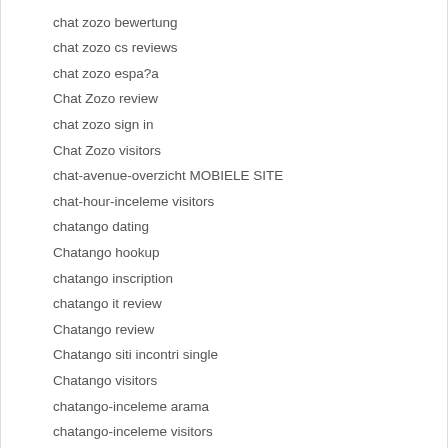chat zozo bewertung
chat zozo cs reviews
chat zozo espa?a
Chat Zozo review
chat zozo sign in
Chat Zozo visitors
chat-avenue-overzicht MOBIELE SITE
chat-hour-inceleme visitors
chatango dating
Chatango hookup
chatango inscription
chatango it review
Chatango review
Chatango siti incontri single
Chatango visitors
chatango-inceleme arama
chatango-inceleme visitors
chatango-recenze recenzГ
ChatAvenue visitors
chatfriends cs reviews